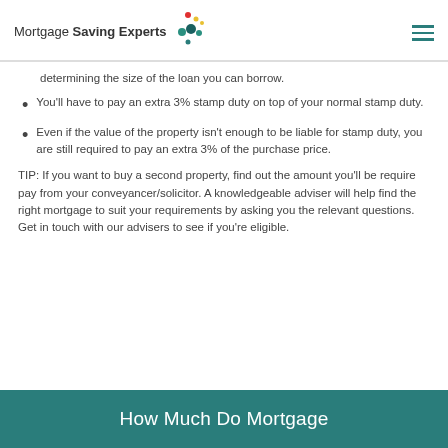Mortgage Saving Experts
determining the size of the loan you can borrow.
You'll have to pay an extra 3% stamp duty on top of your normal stamp duty.
Even if the value of the property isn't enough to be liable for stamp duty, you are still required to pay an extra 3% of the purchase price.
TIP: If you want to buy a second property, find out the amount you'll be require pay from your conveyancer/solicitor. A knowledgeable adviser will help find the right mortgage to suit your requirements by asking you the relevant questions. Get in touch with our advisers to see if you're eligible.
How Much Do Mortgage